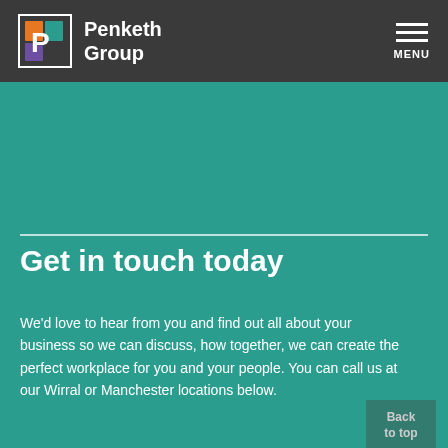Penketh Group
Get in touch today
We'd love to hear from you and find out all about your business so we can discuss, how together, we can create the perfect workplace for you and your people. You can call us at our Wirral or Manchester locations below.
Wirral Head Office: 0151 737 5000
Manchester Showroom: 0161 200 6990